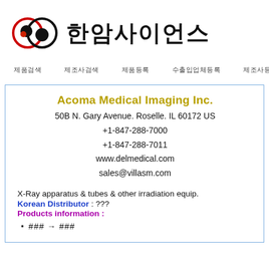[Figure (logo): Hanam Science logo with two overlapping circles (red outline and black filled) with colored dots inside, followed by Korean text 한암사이언스]
제품검색  제조사검색  제품등록  수출입업체등록  제조사등록
Acoma Medical Imaging Inc.
50B N. Gary Avenue. Roselle. IL 60172 US
+1-847-288-7000
+1-847-288-7011
www.delmedical.com
sales@villasm.com
X-Ray apparatus & tubes & other irradiation equip.
Korean Distributor : ???
Products information :
### → ###